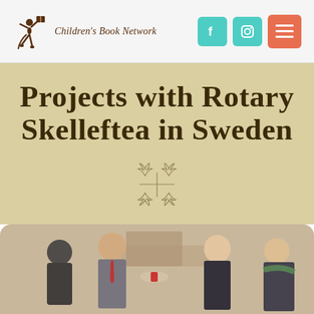Children's Book Network
Projects with Rotary Skelleftea in Sweden
[Figure (illustration): Decorative hand-drawn sketch of hands/birds in the center of the title section]
[Figure (photo): Four people seated at a round table in what appears to be a hotel lobby or cafe, engaged in conversation. Two men on the left, two women on the right.]